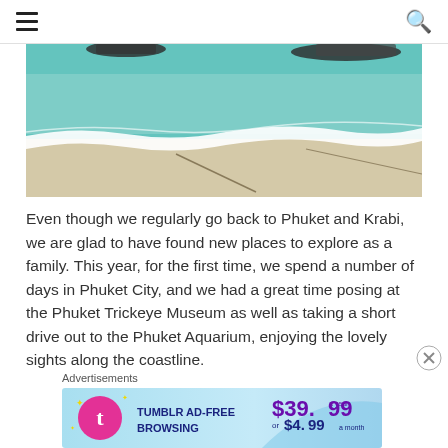Navigation menu and search icon
[Figure (photo): Aerial or overhead view of a beach with turquoise water, white waves lapping the sandy shore, and boats visible at the top edge.]
Even though we regularly go back to Phuket and Krabi, we are glad to have found new places to explore as a family. This year, for the first time, we spend a number of days in Phuket City, and we had a great time posing at the Phuket Trickeye Museum as well as taking a short drive out to the Phuket Aquarium, enjoying the lovely sights along the coastline.
Advertisements
[Figure (screenshot): Tumblr Ad-Free Browsing advertisement banner showing $39.99 a year or $4.99 a month pricing with the Tumblr logo.]